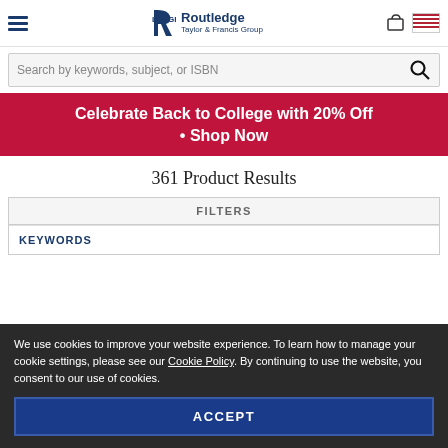Routledge Taylor & Francis Group
Search by keywords, subject, or ISBN
Celebrate Back to College with 20% Off • Shop Now
361 Product Results
FILTERS
KEYWORDS
We use cookies to improve your website experience. To learn how to manage your cookie settings, please see our Cookie Policy. By continuing to use the website, you consent to our use of cookies.
ACCEPT